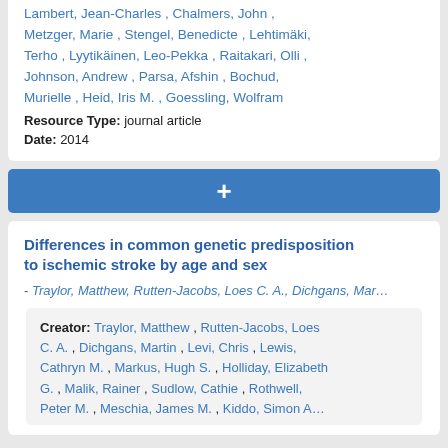Lambert, Jean-Charles , Chalmers, John , Metzger, Marie , Stengel, Benedicte , Lehtimäki, Terho , Lyytikäinen, Leo-Pekka , Raitakari, Olli , Johnson, Andrew , Parsa, Afshin , Bochud, Murielle , Heid, Iris M. , Goessling, Wolfram
Resource Type: journal article
Date: 2014
+
Differences in common genetic predisposition to ischemic stroke by age and sex
- Traylor, Matthew, Rutten-Jacobs, Loes C. A., Dichgans, Mar...
Creator: Traylor, Matthew , Rutten-Jacobs, Loes C. A. , Dichgans, Martin , Levi, Chris , Lewis, Cathryn M. , Markus, Hugh S. , Holliday, Elizabeth G. , Malik, Rainer , Sudlow, Cathie , Rothwell, Peter M. , Meschia, James M. , Kiddo, Simon A...